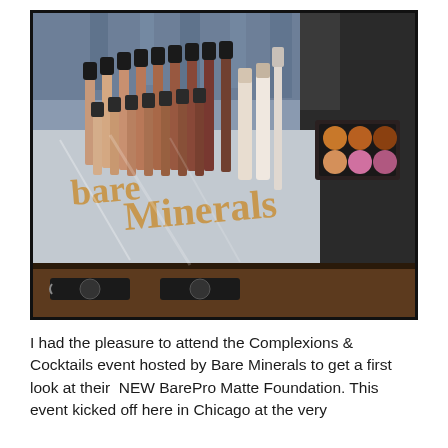[Figure (photo): A display counter showing numerous bareMinerals foundation bottles and makeup products arranged in rows on a mirrored glass surface. The bareMinerals brand name appears in decorative gold/copper lettering in the foreground. The products include various foundation shades, tubes, and eyeshadow palettes. The counter has dark wooden drawers beneath.]
I had the pleasure to attend the Complexions & Cocktails event hosted by Bare Minerals to get a first look at their  NEW BarePro Matte Foundation. This event kicked off here in Chicago at the very